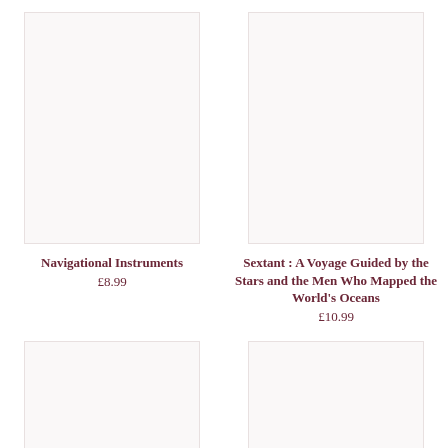[Figure (illustration): Book cover placeholder for Navigational Instruments, light pinkish-white background]
Navigational Instruments
£8.99
[Figure (illustration): Book cover placeholder for Sextant, light pinkish-white background]
Sextant : A Voyage Guided by the Stars and the Men Who Mapped the World's Oceans
£10.99
[Figure (illustration): Book cover placeholder, bottom left, light pinkish-white background]
[Figure (illustration): Book cover placeholder, bottom right, light pinkish-white background]